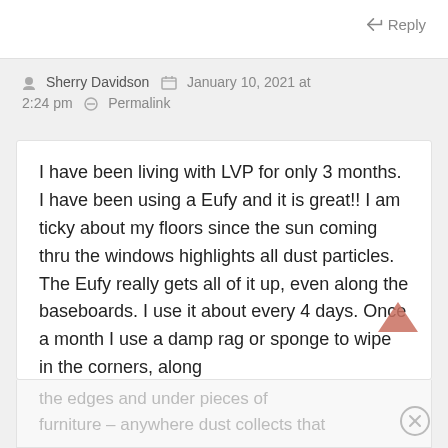Reply
Sherry Davidson  January 10, 2021 at 2:24 pm  Permalink
I have been living with LVP for only 3 months. I have been using a Eufy and it is great!! I am ticky about my floors since the sun coming thru the windows highlights all dust particles. The Eufy really gets all of it up, even along the baseboards. I use it about every 4 days. Once a month I use a damp rag or sponge to wipe in the corners, along
the edges and under pieces of furniture – anywhere dust collects that